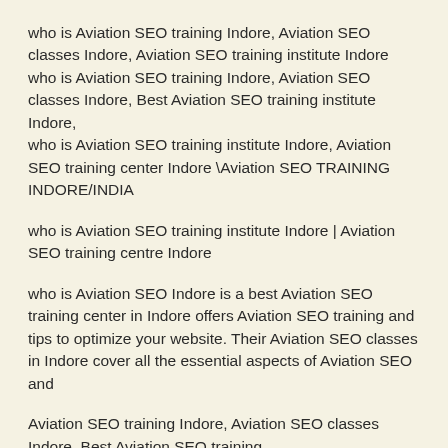who is Aviation SEO training Indore, Aviation SEO classes Indore, Aviation SEO training institute Indore
who is Aviation SEO training Indore, Aviation SEO classes Indore, Best Aviation SEO training institute Indore,
who is Aviation SEO training institute Indore, Aviation SEO training center Indore \Aviation SEO TRAINING INDORE/INDIA
who is Aviation SEO training institute Indore | Aviation SEO training centre Indore
who is Aviation SEO Indore is a best Aviation SEO training center in Indore offers Aviation SEO training and tips to optimize your website. Their Aviation SEO classes in Indore cover all the essential aspects of Aviation SEO and
Aviation SEO training Indore, Aviation SEO classes Indore, Best Aviation SEO training